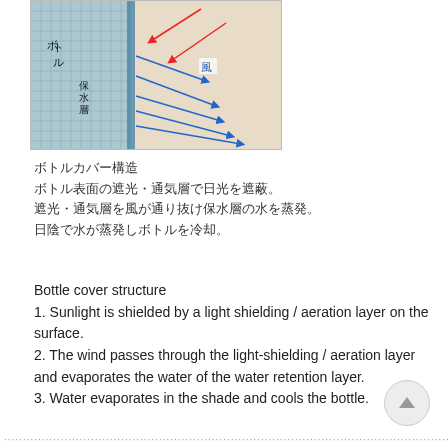[Figure (photo): Photo of a bottle covered with a blue moisture-retaining mesh layer, with Japanese text labels (ボトル, 保水層) and red/blue arrows showing sunlight and wind directions. The labels indicate the bottle cover structure with a light-shielding/aeration layer and water retention layer.]
ボトルカバー構造
ボトル表面の遮光・通気層で日光を遮蔽。
遮光・通気層を風が通り抜け保水層の水を蒸発。
日陰で水が蒸発しボトルを冷却。
Bottle cover structure
1. Sunlight is shielded by a light shielding / aeration layer on the surface.
2. The wind passes through the light-shielding / aeration layer and evaporates the water of the water retention layer.
3. Water evaporates in the shade and cools the bottle.
........................................................................